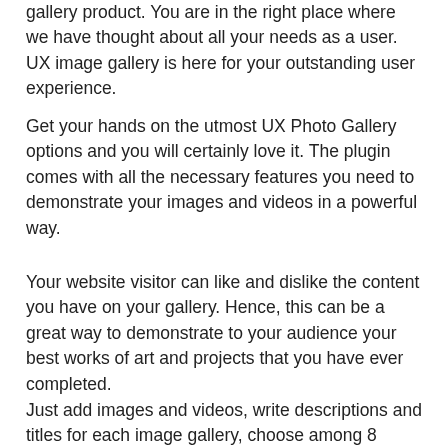gallery product. You are in the right place where we have thought about all your needs as a user. UX image gallery is here for your outstanding user experience.
Get your hands on the utmost UX Photo Gallery options and you will certainly love it. The plugin comes with all the necessary features you need to demonstrate your images and videos in a powerful way.
Your website visitor can like and dislike the content you have on your gallery. Hence, this can be a great way to demonstrate to your audience your best works of art and projects that you have ever completed.
Just add images and videos, write descriptions and titles for each image gallery, choose among 8 incredible views. Plugin allows you to make your gallery attention and brand building.